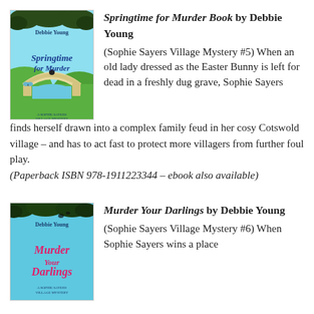[Figure (illustration): Book cover of 'Springtime for Murder' by Debbie Young. Teal/aqua background with a stone arch bridge over water, green hills, blue sky with clouds. Author name at top, 'Springtime for Murder' title in blue cursive, subtitle 'A Sophie Sayers Village Mystery' at bottom.]
Springtime for Murder Book by Debbie Young
(Sophie Sayers Village Mystery #5) When an old lady dressed as the Easter Bunny is left for dead in a freshly dug grave, Sophie Sayers finds herself drawn into a complex family feud in her cosy Cotswold village – and has to act fast to protect more villagers from further foul play. (Paperback ISBN 978-1911223344 – ebook also available)
[Figure (illustration): Book cover of 'Murder Your Darlings' by Debbie Young. Teal/blue background with dark foliage at top. Author name at top, 'Murder Your Darlings' title in pink cursive, subtitle 'A Sophie Sayers Village Mystery' at bottom.]
Murder Your Darlings by Debbie Young
(Sophie Sayers Village Mystery #6) When Sophie Sayers wins a place